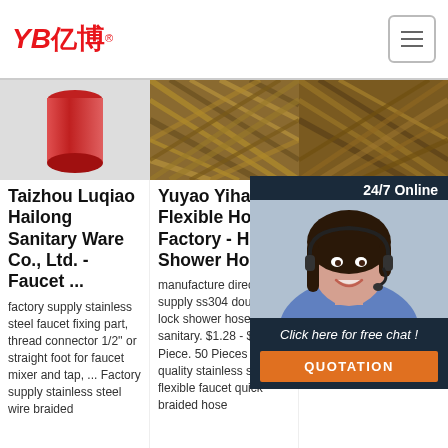[Figure (logo): YB亿博 logo in red italic text with registered trademark symbol]
[Figure (photo): Red pipe/fitting product image]
[Figure (photo): Braided hose close-up texture image]
[Figure (photo): Second braided hose texture image]
Taizhou Luqiao Hailong Sanitary Ware Co., Ltd. - Faucet ...
factory supply stainless steel faucet fixing part, thread connector 1/2'' or straight foot for faucet mixer and tap, ... Factory supply stainless steel wire braided
Yuyao Yihao Flexible Hose Factory - Hose, Shower Hose
manufacture directly supply ss304 double lock shower hose for sanitary. $1.28 - $1.71 Piece. 50 Pieces ... high quality stainless steel flexible faucet quick braided hose
Ch Ho Su Ma Fa
202 11u pro braided hose manufacturers and suppliers in China, featured by top service and competitive price. If you're going to buy
[Figure (photo): Customer service agent with headset - 24/7 Online chat overlay with QUOTATION button]